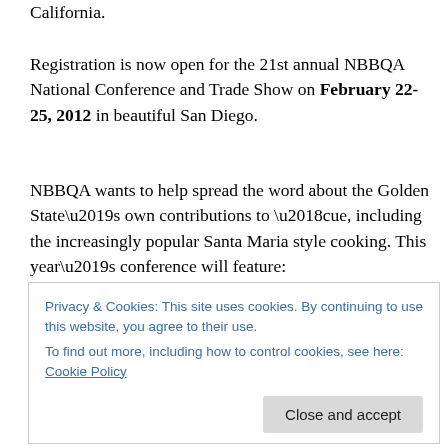California.
Registration is now open for the 21st annual NBBQA National Conference and Trade Show on February 22-25, 2012 in beautiful San Diego.
NBBQA wants to help spread the word about the Golden State’s own contributions to ‘cue, including the increasingly popular Santa Maria style cooking. This year’s conference will feature:
the always-popular bus tour, highlighting five distinctive San Diego area BBQ joints
Privacy & Cookies: This site uses cookies. By continuing to use this website, you agree to their use.
To find out more, including how to control cookies, see here: Cookie Policy